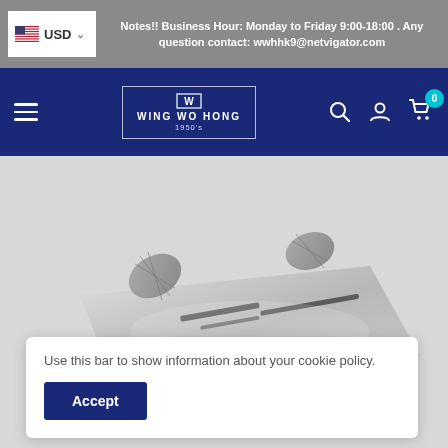USD  Notes!! Business Hour: Monday to Friday 9:00-18:00 . Any question contact: wwhhk9@netvigator.com
[Figure (logo): Wing Wo Hong logo with navigation bar including hamburger menu, search icon, user icon, and cart with 0 badge]
[Figure (photo): Close-up photo of watchmaking or precision tools, metallic components on white background]
Use this bar to show information about your cookie policy.
Accept